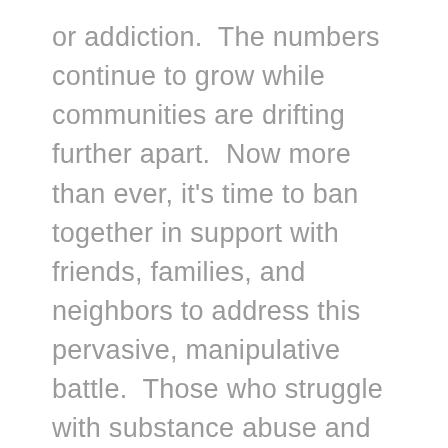or addiction.  The numbers continue to grow while communities are drifting further apart.  Now more than ever, it's time to ban together in support with friends, families, and neighbors to address this pervasive, manipulative battle.  Those who struggle with substance abuse and addiction, and their families, deserve proper education, support, and guidance as they navigate this debilitating disease. Plus, fantastic support makes a world of difference in the overall outcome.  What causes Addiction Issues?  Frankly, anyone can fall victim to substance abuse and addiction. From simply falling into the wrong crowd of friends to self-medicating due to a mental illness